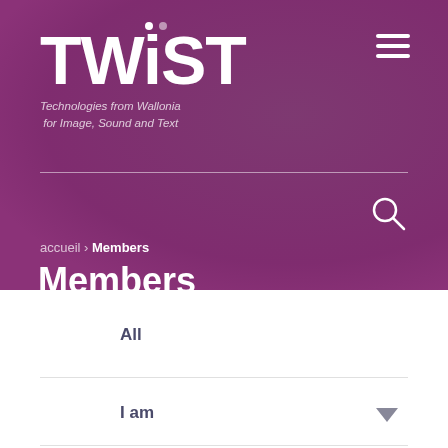[Figure (logo): TWIST logo with dots above letters, white on purple background. Subtitle: Technologies from Wallonia for Image, Sound and Text]
accueil › Members
Members
All
I am